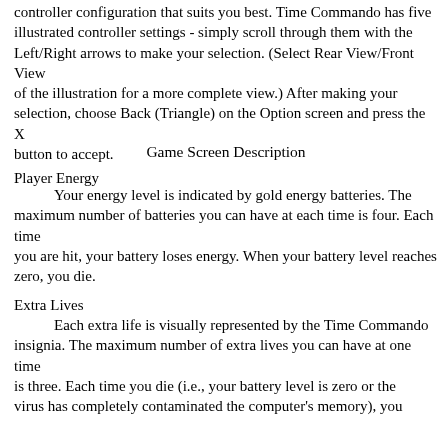controller configuration that suits you best.  Time Commando has five illustrated controller settings - simply scroll through them with the Left/Right arrows to make your selection.  (Select Rear View/Front View of the illustration for a more complete view.)  After making your selection, choose Back (Triangle) on the Option screen and press the X button to accept.
Game Screen Description
Player Energy
Your energy level is indicated by gold energy batteries.  The maximum number of batteries you can have at each time is four.  Each time you are hit, your battery loses energy.  When your battery level reaches zero, you die.
Extra Lives
Each extra life is visually represented by the Time Commando insignia.  The maximum number of extra lives you can have at one time is three.  Each time you die (i.e., your battery level is zero or the virus has completely contaminated the computer's memory), you